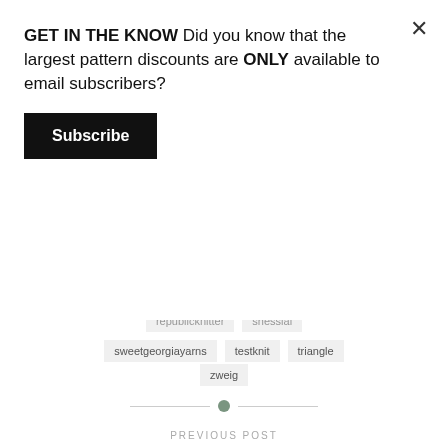GET IN THE KNOW Did you know that the largest pattern discounts are ONLY available to email subscribers?
Subscribe
×
sweetgeorgiayarns
testknit
triangle
zweig
PREVIOUS POST
Sunset Highway: A Contemporary Voyage in Colorwork